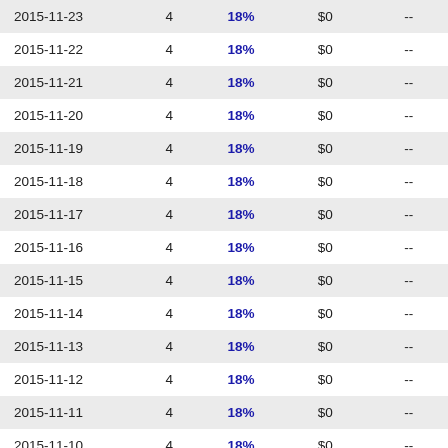| Date |  | 18% | $0 | -- |
| --- | --- | --- | --- | --- |
| 2015-11-23 | 4 | 18% | $0 | -- |
| 2015-11-22 | 4 | 18% | $0 | -- |
| 2015-11-21 | 4 | 18% | $0 | -- |
| 2015-11-20 | 4 | 18% | $0 | -- |
| 2015-11-19 | 4 | 18% | $0 | -- |
| 2015-11-18 | 4 | 18% | $0 | -- |
| 2015-11-17 | 4 | 18% | $0 | -- |
| 2015-11-16 | 4 | 18% | $0 | -- |
| 2015-11-15 | 4 | 18% | $0 | -- |
| 2015-11-14 | 4 | 18% | $0 | -- |
| 2015-11-13 | 4 | 18% | $0 | -- |
| 2015-11-12 | 4 | 18% | $0 | -- |
| 2015-11-11 | 4 | 18% | $0 | -- |
| 2015-11-10 | 4 | 18% | $0 | -- |
| 2015-11-09 | 4 | 18% | $0 | -- |
| 2015-11-08 | 4 | 18% | $0 | -- |